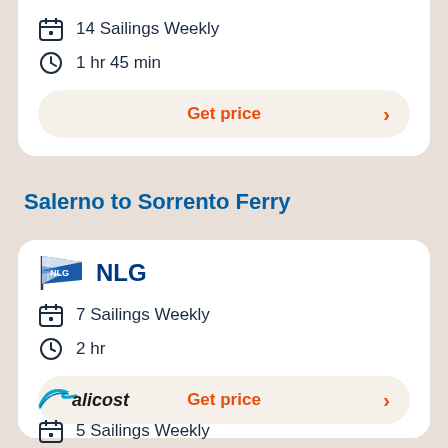14 Sailings Weekly
1 hr 45 min
Get price
Salerno to Sorrento Ferry
[Figure (logo): NLG ferry company flag logo with text NLG]
7 Sailings Weekly
2 hr
Get price
[Figure (logo): Alicost ferry company logo]
5 Sailings Weekly